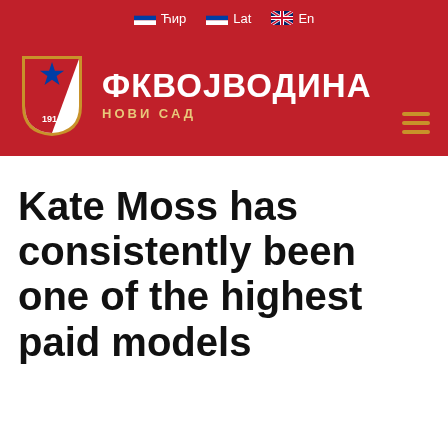Ћир  Lat  En
[Figure (logo): FK Vojvodina club logo: white and red shield with blue star and year 1914, on red banner with club name ФКВОЈВОДИНА and subtitle НОВИ САД in white/gold]
Kate Moss has consistently been one of the highest paid models